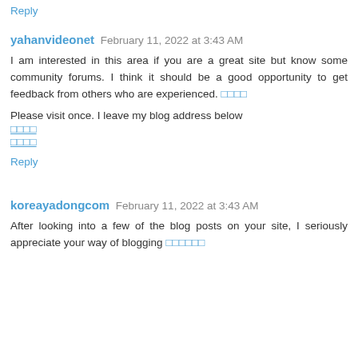Reply
yahanvideonet  February 11, 2022 at 3:43 AM
I am interested in this area if you are a great site but know some community forums. I think it should be a good opportunity to get feedback from others who are experienced. □□□□
Please visit once. I leave my blog address below
□□□□
□□□□
Reply
koreayadongcom  February 11, 2022 at 3:43 AM
After looking into a few of the blog posts on your site, I seriously appreciate your way of blogging □□□□□□